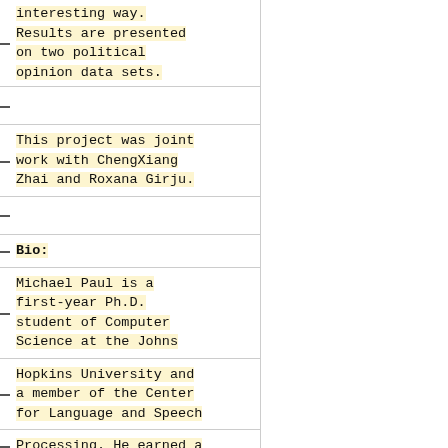interesting way. Results are presented on two political opinion data sets.
This project was joint work with ChengXiang Zhai and Roxana Girju.
Bio:
Michael Paul is a first-year Ph.D. student of Computer Science at the Johns
Hopkins University and a member of the Center for Language and Speech
Processing. He earned a